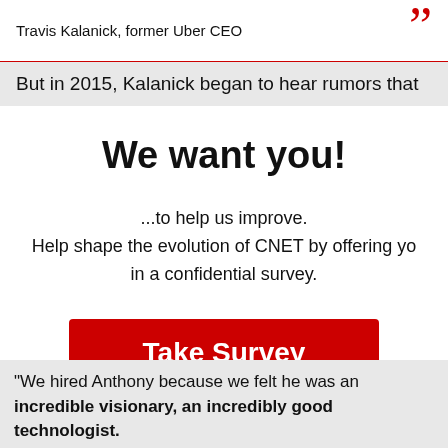Travis Kalanick, former Uber CEO
But in 2015, Kalanick began to hear rumors that
We want you!
...to help us improve.
Help shape the evolution of CNET by offering yo
in a confidential survey.
[Figure (other): Red 'Take Survey' button]
Contact us.
When you reply to this survey, you acknowledge that Red Ventures colle
accordance with the Red Ventures privacy policy availa
"We hired Anthony because we felt he was an incredible visionary, an incredibly good technologist. Also, he was very charming," Kalanick said. He added